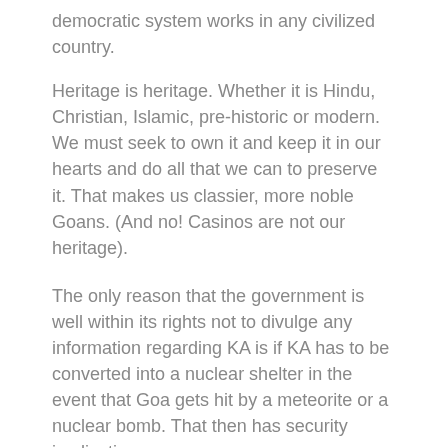democratic system works in any civilized country.
Heritage is heritage. Whether it is Hindu, Christian, Islamic, pre-historic or modern. We must seek to own it and keep it in our hearts and do all that we can to preserve it. That makes us classier, more noble Goans. (And no! Casinos are not our heritage).
The only reason that the government is well within its rights not to divulge any information regarding KA is if KA has to be converted into a nuclear shelter in the event that Goa gets hit by a meteorite or a nuclear bomb. That then has security implications.
Post script : I was on the CCF, but have since been eased out, so I do not speak for the Foundation.
And think about this, Cidade de Goa is another Charles Correa masterpiece. Auduth Timble could have easily